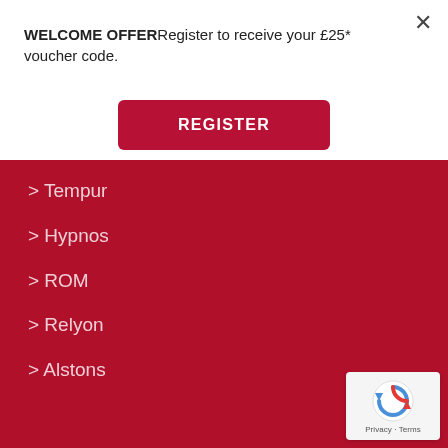WELCOME OFFERRegister to receive your £25* voucher code.
×
REGISTER
> Tempur
> Hypnos
> ROM
> Relyon
> Alstons
[Figure (logo): Google reCAPTCHA badge with spinning arrow icon and Privacy/Terms text]